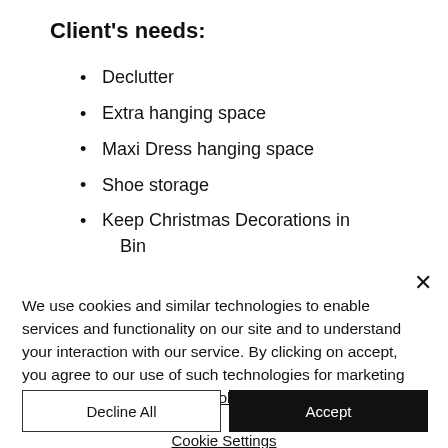Client's needs:
Declutter
Extra hanging space
Maxi Dress hanging space
Shoe storage
Keep Christmas Decorations in Bin
We use cookies and similar technologies to enable services and functionality on our site and to understand your interaction with our service. By clicking on accept, you agree to our use of such technologies for marketing and analytics. See Privacy Policy
Decline All
Accept
Cookie Settings